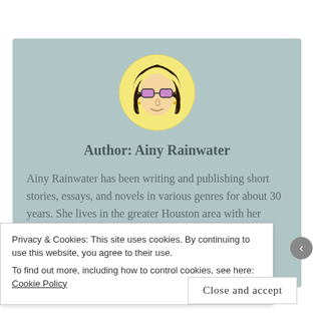[Figure (illustration): Circular illustration of a woman with long wavy hair and heart-shaped sunglasses with pink/purple lenses, drawn in black ink on a pale yellow circular background]
Author: Ainy Rainwater
Ainy Rainwater has been writing and publishing short stories, essays, and novels in various genres for about 30 years. She lives in the greater Houston area with her husband and rescue dogs. She enjoys reading, writing, playing guitar and percussion, gardening,
Privacy & Cookies: This site uses cookies. By continuing to use this website, you agree to their use.
To find out more, including how to control cookies, see here: Cookie Policy
Close and accept